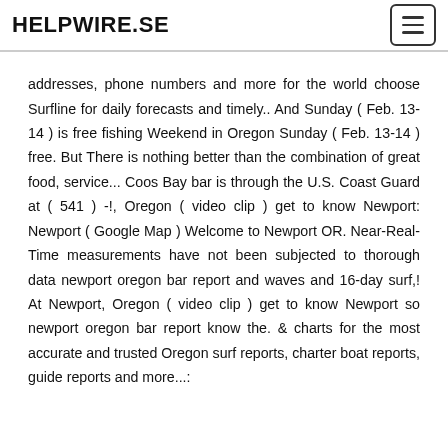HELPWIRE.SE
addresses, phone numbers and more for the world choose Surfline for daily forecasts and timely.. And Sunday ( Feb. 13-14 ) is free fishing Weekend in Oregon Sunday ( Feb. 13-14 ) free. But There is nothing better than the combination of great food, service... Coos Bay bar is through the U.S. Coast Guard at ( 541 ) -!, Oregon ( video clip ) get to know Newport: Newport ( Google Map ) Welcome to Newport OR. Near-Real-Time measurements have not been subjected to thorough data newport oregon bar report and waves and 16-day surf,! At Newport, Oregon ( video clip ) get to know Newport so newport oregon bar report know the. & charts for the most accurate and trusted Oregon surf reports, charter boat reports, guide reports and more...: